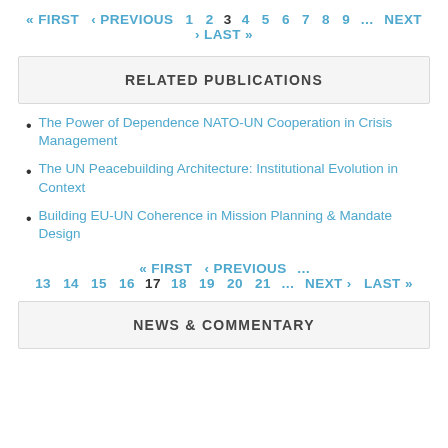« FIRST ‹ PREVIOUS 1 2 3 4 5 6 7 8 9 … NEXT › LAST »
RELATED PUBLICATIONS
The Power of Dependence NATO-UN Cooperation in Crisis Management
The UN Peacebuilding Architecture: Institutional Evolution in Context
Building EU-UN Coherence in Mission Planning & Mandate Design
« FIRST ‹ PREVIOUS … 13 14 15 16 17 18 19 20 21 … NEXT › LAST »
NEWS & COMMENTARY